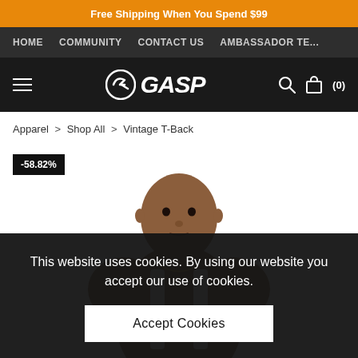Free Shipping When You Spend $99
HOME  COMMUNITY  CONTACT US  AMBASSADOR TE...
GASP logo header with hamburger menu, search and cart (0)
Apparel > Shop All > Vintage T-Back
[Figure (photo): A muscular man wearing a white Vintage T-Back tank top, with a -58.82% discount badge in the upper left corner]
This website uses cookies. By using our website you accept our use of cookies.
Accept Cookies